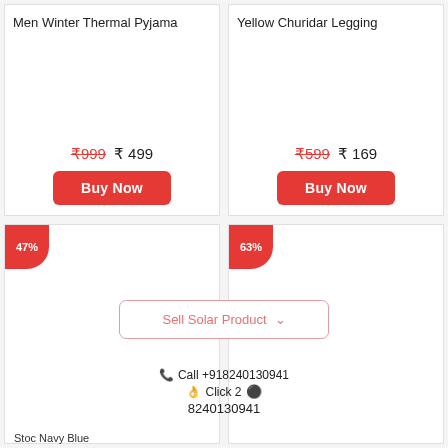Men Winter Thermal Pyjama
₹999  ₹ 499
Buy Now
Yellow Churidar Legging
₹599  ₹ 169
Buy Now
47%
63%
Sell Solar Product
📞 Call +918240130941
Click 2 🟢 8240130941
Stoc Navy Blue